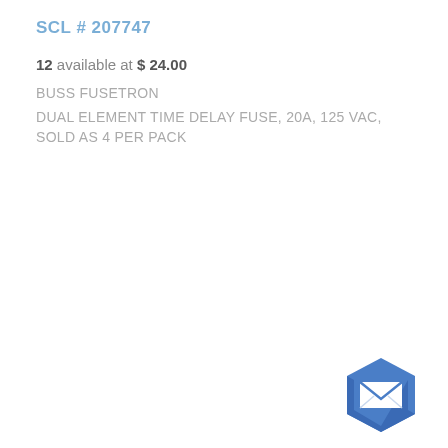SCL # 207747
12 available at $ 24.00
BUSS FUSETRON
DUAL ELEMENT TIME DELAY FUSE, 20A, 125 VAC, SOLD AS 4 PER PACK
[Figure (illustration): Blue hexagonal mail/envelope icon button in the bottom-right corner]